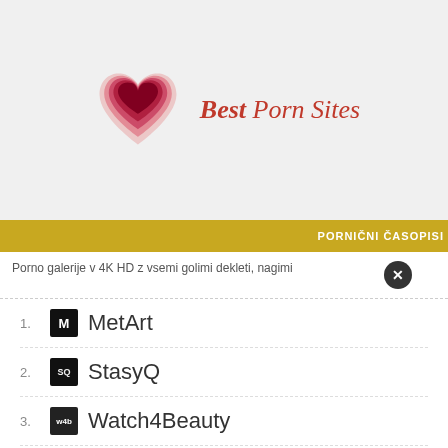[Figure (logo): Layered geometric heart logo in pink/red tones with 'Best Porn Sites' text in italic serif font]
PORNIČNI ČASOPISI
Porno galerije v 4K HD z vsemi golimi dekleti, nagimi
1. MetArt
2. StasyQ
3. Watch4Beauty
4. Playboy Plus
LEZBIČNE PORNO STRA
Porničì z dvema dekletoma! Lezbijke, ki se prst